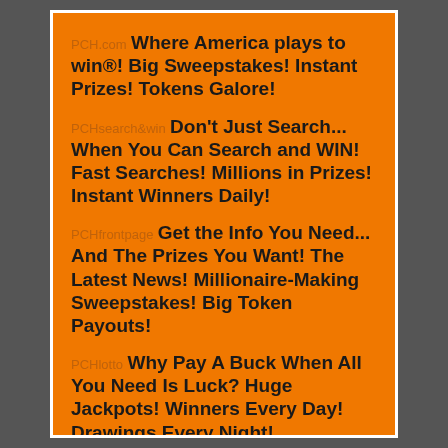PCH.com Where America plays to win®! Big Sweepstakes! Instant Prizes! Tokens Galore!
PCHsearch&win Don't Just Search... When You Can Search and WIN! Fast Searches! Millions in Prizes! Instant Winners Daily!
PCHfrontpage Get the Info You Need... And The Prizes You Want! The Latest News! Millionaire-Making Sweepstakes! Big Token Payouts!
PCHlotto Why Pay A Buck When All You Need Is Luck? Huge Jackpots! Winners Every Day! Drawings Every Night!